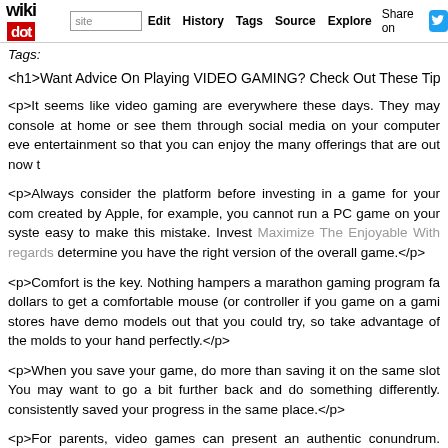wikidot | site Edit History Tags Source Explore Share on [twitter]
Tags:
<h1>Want Advice On Playing VIDEO GAMING? Check Out These Tips!</
<p>It seems like video gaming are everywhere these days. They may console at home or see them through social media on your computer eve entertainment so that you can enjoy the many offerings that are out now t
<p>Always consider the platform before investing in a game for your com created by Apple, for example, you cannot run a PC game on your syste easy to make this mistake. Invest Maximize The Enjoyable With regards determine you have the right version of the overall game.</p>
<p>Comfort is the key. Nothing hampers a marathon gaming program fa dollars to get a comfortable mouse (or controller if you game on a gami stores have demo models out that you could try, so take advantage of the molds to your hand perfectly.</p>
<p>When you save your game, do more than saving it on the same slot You may want to go a bit further back and do something differently. consistently saved your progress in the same place.</p>
<p>For parents, video games can present an authentic conundrum. Your greatest games that their friends are talking about, but you want to ha What You GOT TO KNOW About Video Games Absolutely is simple: Do a children! Play together with them so that you know what they're seeing an
[Figure (other): Thumbnail image placeholder for 910778-super_solvers_midnight_pc_game_dosbox_1.jpg]